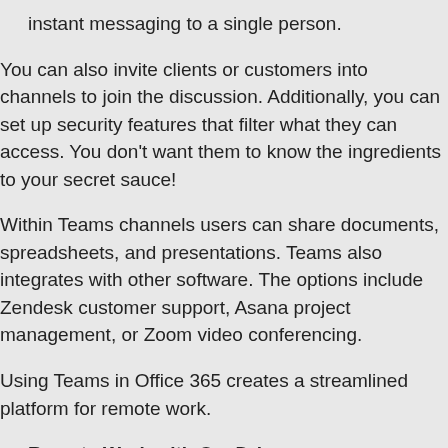instant messaging to a single person.
You can also invite clients or customers into channels to join the discussion. Additionally, you can set up security features that filter what they can access. You don't want them to know the ingredients to your secret sauce!
Within Teams channels users can share documents, spreadsheets, and presentations. Teams also integrates with other software. The options include Zendesk customer support, Asana project management, or Zoom video conferencing.
Using Teams in Office 365 creates a streamlined platform for remote work.
Remote Work with OneDrive
Working on premises, your users always had access to the business file server. OneDrive is the cloud equivalent. Yet, since it's online, it's always accessible. Microsoft's hosts the